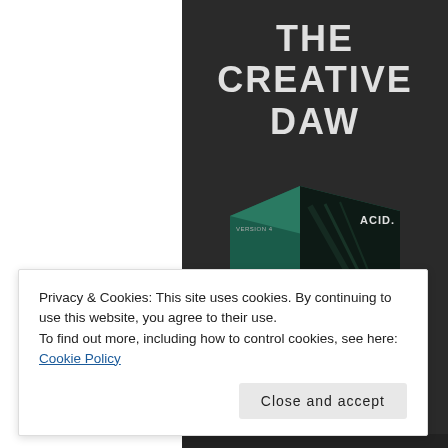[Figure (screenshot): A dark-background promotional image showing the text 'THE CREATIVE DAW' in large white bold letters at the top, with a product software box below featuring a dark green and teal color scheme with diagonal light streaks and the ACID logo.]
Privacy & Cookies: This site uses cookies. By continuing to use this website, you agree to their use.
To find out more, including how to control cookies, see here: Cookie Policy